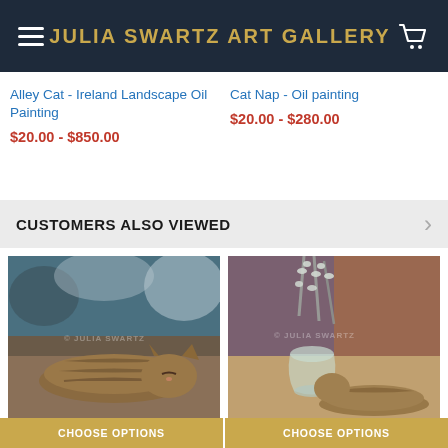JULIA SWARTZ ART GALLERY
Alley Cat - Ireland Landscape Oil Painting
$20.00 - $850.00
Cat Nap - Oil painting
$20.00 - $280.00
CUSTOMERS ALSO VIEWED
[Figure (photo): Oil painting of a tabby cat sleeping on a surface, horizontal composition with dark background.]
[Figure (photo): Oil painting of a glass vase with pussy willow branches and a tabby cat resting beside the vase, warm earthy background.]
CHOOSE OPTIONS
CHOOSE OPTIONS